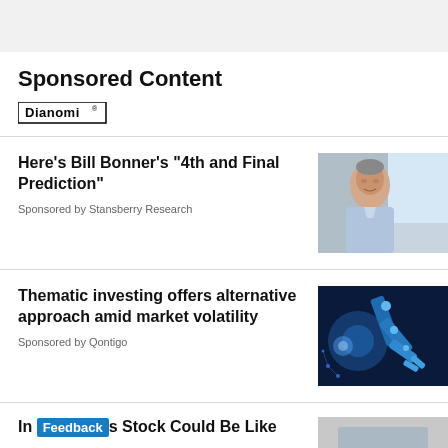Sponsored Content
[Figure (logo): Dianomi logo]
Here’s Bill Bonner’s “4th and Final Prediction”
Sponsored by Stansberry Research
[Figure (photo): Older man in light blue shirt]
Thematic investing offers alternative approach amid market volatility
Sponsored by Qontigo
[Figure (photo): Blue robotic arm technology image]
In ... s Stock Could Be Like
[Figure (photo): Partially visible image at bottom]